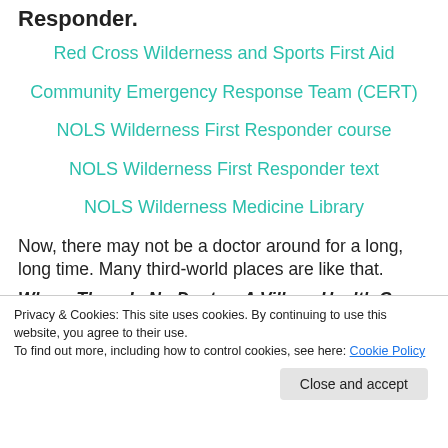Responder.
Red Cross Wilderness and Sports First Aid
Community Emergency Response Team (CERT)
NOLS Wilderness First Responder course
NOLS Wilderness First Responder text
NOLS Wilderness Medicine Library
Now, there may not be a doctor around for a long, long time. Many third-world places are like that.
Where There Is No Doctor: A Village Health Care
Privacy & Cookies: This site uses cookies. By continuing to use this website, you agree to their use.
To find out more, including how to control cookies, see here: Cookie Policy
Close and accept